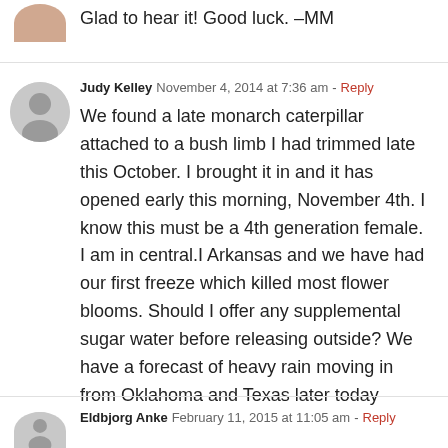Glad to hear it! Good luck. –MM
Judy Kelley  November 4, 2014 at 7:36 am - Reply
We found a late monarch caterpillar attached to a bush limb I had trimmed late this October. I brought it in and it has opened early this morning, November 4th. I know this must be a 4th generation female. I am in central.I Arkansas and we have had our first freeze which killed most flower blooms. Should I offer any supplemental sugar water before releasing outside? We have a forecast of heavy rain moving in from Oklahoma and Texas later today
Eldbjorg Anke  February 11, 2015 at 11:05 am - Reply